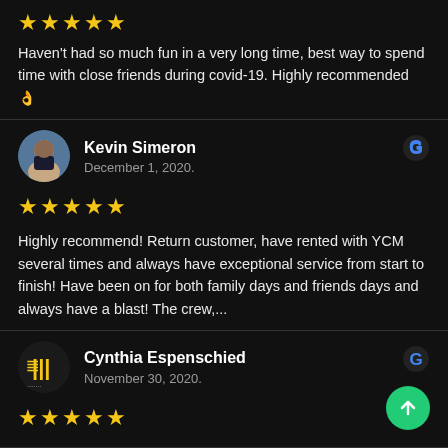★★★★★
Haven't had so much fun in a very long time, best way to spend time with close friends during covid-19. Highly recommended 👌
Kevin Simeron
December 1, 2020.
★★★★★
Highly recommend! Return customer, have rented with YCM several times and always have exceptional service from start to finish! Have been on for both family days and friends days and always have a blast! The crew,...
Cynthia Espenschied
November 30, 2020.
★★★★★